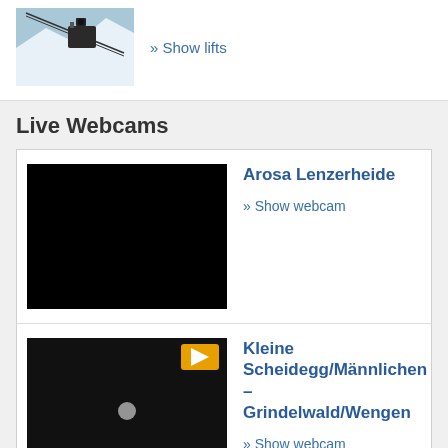[Figure (photo): Ski lift / cable car gondola with snowy mountain background]
» Show lifts
Live Webcams
[Figure (photo): Dark / black webcam thumbnail for Arosa Lenzerheide]
Arosa Lenzerheide
» Show webcam
[Figure (screenshot): Dark night webcam thumbnail with nLIVE badge and yellow logo icon for Kleine Scheidegg/Männlichen]
Kleine Scheidegg/Männlichen – Grindelwald/Wengen
» Show webcam
Events
Skicircus Saalbach Hinterglemm
2022-12-09 until